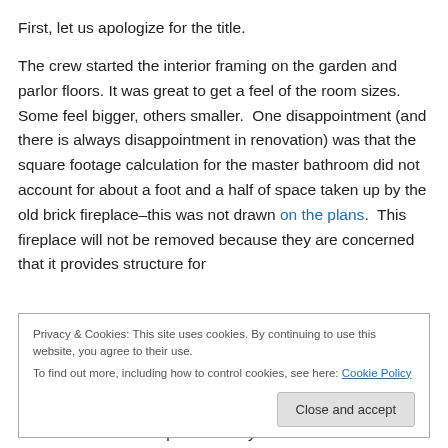First, let us apologize for the title.
The crew started the interior framing on the garden and parlor floors. It was great to get a feel of the room sizes. Some feel bigger, others smaller. One disappointment (and there is always disappointment in renovation) was that the square footage calculation for the master bathroom did not account for about a foot and a half of space taken up by the old brick fireplace–this was not drawn on the plans. This fireplace will not be removed because they are concerned that it provides structure for
Privacy & Cookies: This site uses cookies. By continuing to use this website, you agree to their use.
To find out more, including how to control cookies, see here: Cookie Policy
the closet follows the plans exactly but we realized that